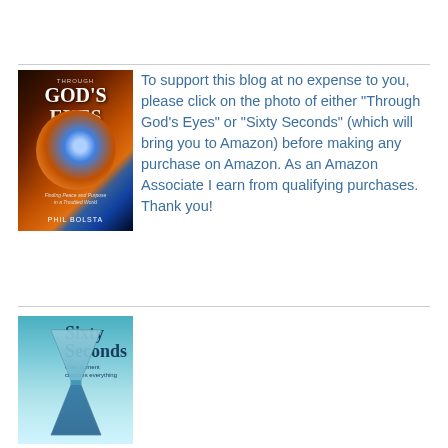[Figure (photo): Book cover for 'Through God's Eyes' by Phil Bolsta showing a nebula eye image with orange and blue colors]
To support this blog at no expense to you, please click on the photo of either "Through God's Eyes" or "Sixty Seconds" (which will bring you to Amazon) before making any purchase on Amazon. As an Amazon Associate I earn from qualifying purchases. Thank you!
[Figure (photo): Book cover for 'Sixty Seconds' showing a blue-tinted hourglass with text 'One moment changes everything']